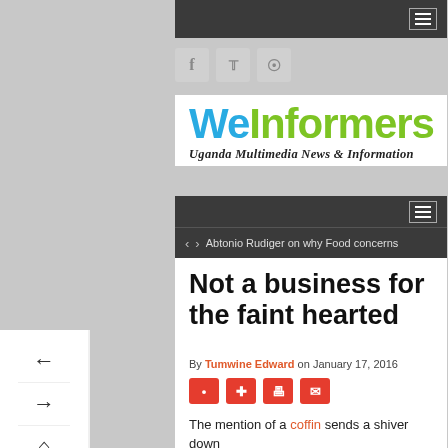[Figure (logo): WeInformers website logo with 'We' in blue and 'Informers' in green, tagline: Uganda Multimedia News & Information]
Abtonio Rudiger on why Food concerns
Not a business for the faint hearted
By Tumwine Edward on January 17, 2016
The mention of a coffin sends a shiver down